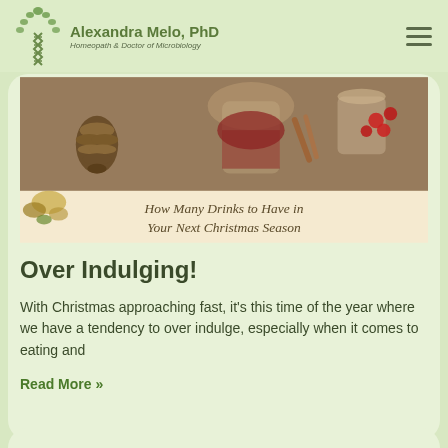Alexandra Melo, PhD — Homeopath & Doctor of Microbiology
[Figure (photo): Christmas themed drinks image with pine cone, wine glass, berries, and text overlay reading 'How Many Drinks to Have in Your Next Christmas Season']
Over Indulging!
With Christmas approaching fast, it's this time of the year where we have a tendency to over indulge, especially when it comes to eating and
Read More »